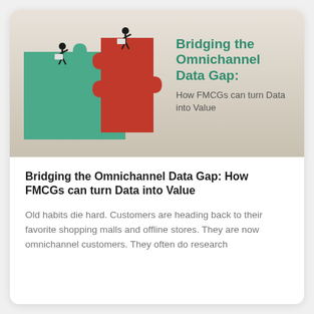[Figure (illustration): Hero banner with gradient beige-to-tan background. Two interlocking puzzle pieces: one teal/green on the left, one red on the right. Two illustrated figures (women) sit on top of the puzzle pieces using laptops. To the right of the puzzle image, green bold text reads 'Bridging the Omnichannel Data Gap:' followed by gray text 'How FMCGs can turn Data into Value'.]
Bridging the Omnichannel Data Gap: How FMCGs can turn Data into Value
Old habits die hard. Customers are heading back to their favorite shopping malls and offline stores. They are now omnichannel customers. They often do research